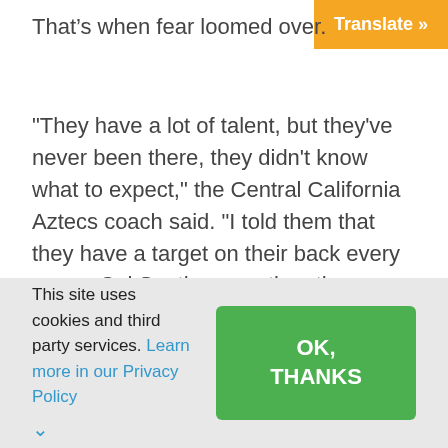That’s when fear loomed over.
[Figure (other): Orange Translate button in top right corner]
“They have a lot of talent, but they’ve never been there, they didn’t know what to expect,” the Central California Aztecs coach said. “I told them that they have a target on their back every game, Cal South, every time they go play at Regionals and Nationals, we have a target on our back.
“As [the tournaments] went on, the momentum carried us. But that was the biggest hurdle, just
This site uses cookies and third party services. Learn more in our Privacy Policy
OK, THANKS